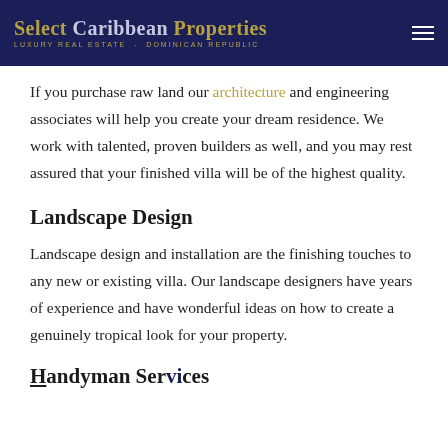Select Caribbean Properties LUXURY REAL ESTATE - DOMINICAN REPUBLIC
If you purchase raw land our architecture and engineering associates will help you create your dream residence. We work with talented, proven builders as well, and you may rest assured that your finished villa will be of the highest quality.
Landscape Design
Landscape design and installation are the finishing touches to any new or existing villa. Our landscape designers have years of experience and have wonderful ideas on how to create a genuinely tropical look for your property.
Handyman Services